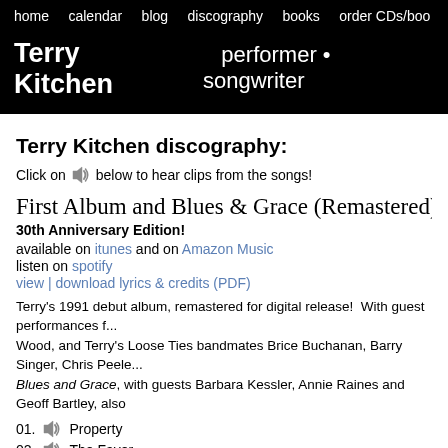home   calendar   blog   discography   books   order CDs/boo
Terry Kitchen   performer • songwriter
Terry Kitchen discography:
Click on [speaker icon] below to hear clips from the songs!
First Album and Blues & Grace (Remastered)
30th Anniversary Edition!
available on itunes and on Amazon Music
listen on spotify
view | download lyrics & credits (PDF)
Terry's 1991 debut album, remastered for digital release!  With guest performances f... Wood, and Terry's Loose Ties bandmates Brice Buchanan, Barry Singer, Chris Peele... Blues and Grace, with guests Barbara Kessler, Annie Raines and Geoff Bartley, also
01.  [speaker] Property
02.  [speaker] The Favor
03.  Some Things Are Worth Saying